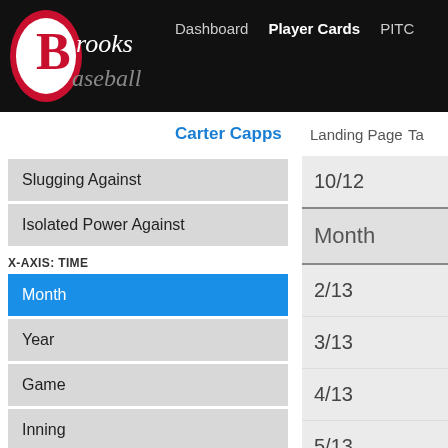Brooks Baseball — Dashboard | Player Cards | PITC…
Carter Capps   Landing Page   Ta…
Slugging Against
Isolated Power Against
X-AXIS: TIME
Month
Year
Game
Inning
Times Through The Order
10/12
Month
2/13
3/13
4/13
5/13
6/13
7/13